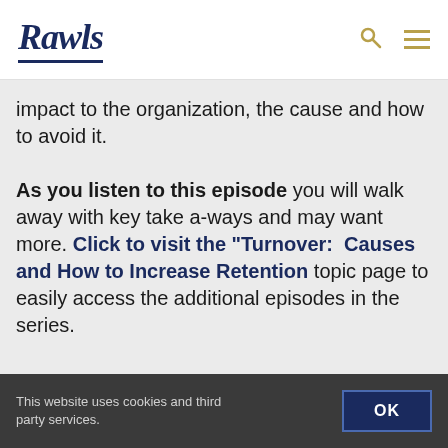Rawls
impact to the organization, the cause and how to avoid it.

As you listen to this episode you will walk away with key take a-ways and may want more. Click to visit the "Turnover: Causes and How to Increase Retention" topic page to easily access the additional episodes in the series.
This website uses cookies and third party services. OK